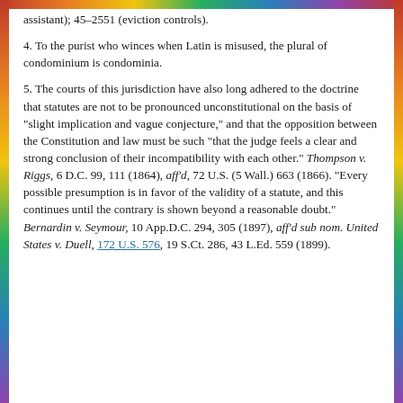assistant); 45-2551 (eviction controls).
4. To the purist who winces when Latin is misused, the plural of condominium is condominia.
5. The courts of this jurisdiction have also long adhered to the doctrine that statutes are not to be pronounced unconstitutional on the basis of "slight implication and vague conjecture," and that the opposition between the Constitution and law must be such "that the judge feels a clear and strong conclusion of their incompatibility with each other." Thompson v. Riggs, 6 D.C. 99, 111 (1864), aff'd, 72 U.S. (5 Wall.) 663 (1866). "Every possible presumption is in favor of the validity of a statute, and this continues until the contrary is shown beyond a reasonable doubt." Bernardin v. Seymour, 10 App.D.C. 294, 305 (1897), aff'd sub nom. United States v. Duell, 172 U.S. 576, 19 S.Ct. 286, 43 L.Ed. 559 (1899).